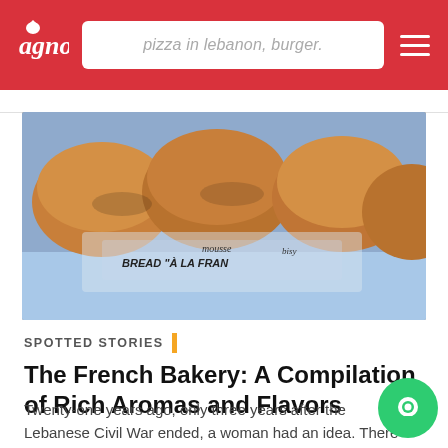pizza in lebanon, burger.
[Figure (photo): Close-up photo of bread rolls in plastic packaging labeled 'BREAD À LA FRANC...' in a bakery display]
SPOTTED STORIES
The French Bakery: A Compilation of Rich Aromas and Flavors
Twenty-one years ago, only three years after the Lebanese Civil War ended, a woman had an idea. There was a need in Lebanon for some high quality French bread, when Mrs. Rita Hoayek went...